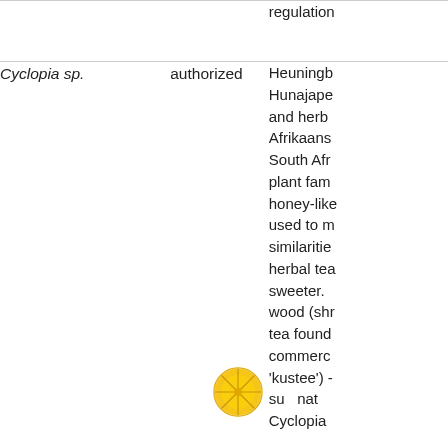| Species | Status | Description |
| --- | --- | --- |
|  |  | regulation |
| Cyclopia sp. | authorized | Heuningb Hunajape and herb Afrikaans South Afr plant fam honey-like used to m similaritie herbal tea sweeter. wood (shr tea found commerc 'kustee') - su nat Cyclopia |